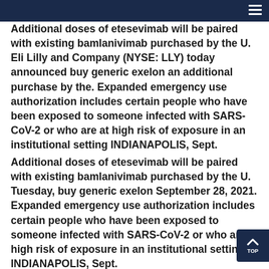Additional doses of etesevimab will be paired with existing bamlanivimab purchased by the U. Eli Lilly and Company (NYSE: LLY) today announced buy generic exelon an additional purchase by the. Expanded emergency use authorization includes certain people who have been exposed to someone infected with SARS-CoV-2 or who are at high risk of exposure in an institutional setting INDIANAPOLIS, Sept.
Additional doses of etesevimab will be paired with existing bamlanivimab purchased by the U. Tuesday, buy generic exelon September 28, 2021. Expanded emergency use authorization includes certain people who have been exposed to someone infected with SARS-CoV-2 or who are at high risk of exposure in an institutional setting INDIANAPOLIS, Sept.